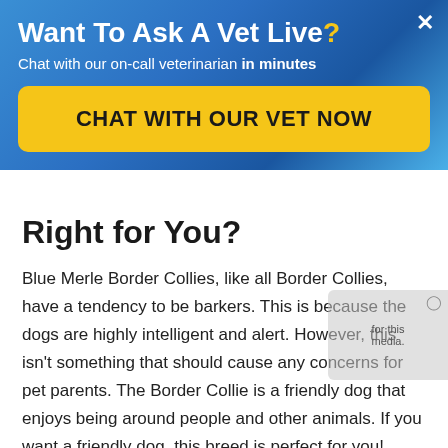[Figure (screenshot): A promotional banner overlay for a veterinary chat service with blue gradient background. Contains title 'Want To Ask A Vet Live?', subtitle 'Chat with our on-call veterinarian in minutes', and a yellow CTA button 'CHAT WITH OUR VET NOW'. An X close button is in the top right corner.]
Right for You?
Blue Merle Border Collies, like all Border Collies, have a tendency to be barkers. This is because the dogs are highly intelligent and alert. However, this isn't something that should cause any concerns for pet parents. The Border Collie is a friendly dog that enjoys being around people and other animals. If you want a friendly dog, this breed is perfect for you!